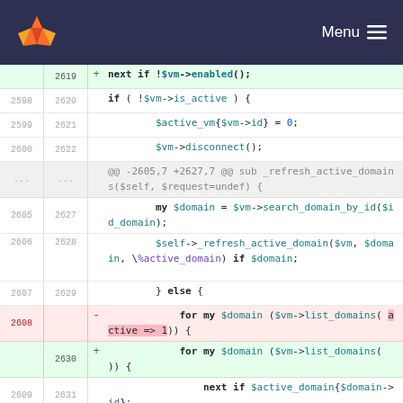[Figure (screenshot): GitLab navigation header with logo and Menu button]
Code diff view showing Perl/code changes around lines 2598-2631, including next if !$vm->enabled(); if (!$vm->is_active) block, $active_vm, $vm->disconnect(), refresh_active_domains sub, $domain search, $self->_refresh_active_domain, for my $domain ($vm->list_domains) loops.